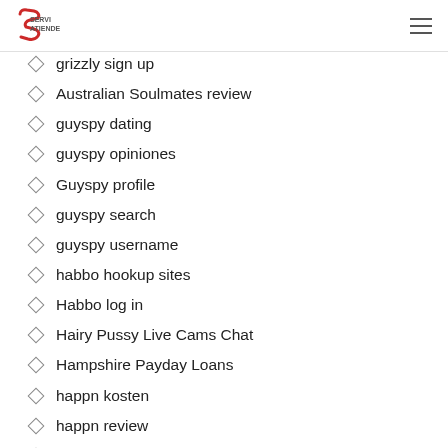SERVI ATIENDE
grizzly sign up
Australian Soulmates review
guyspy dating
guyspy opiniones
Guyspy profile
guyspy search
guyspy username
habbo hookup sites
Habbo log in
Hairy Pussy Live Cams Chat
Hampshire Payday Loans
happn kosten
happn review
harz-flirt.com hier sind die Ergebnisse
harz-flirt.com Internet
harz-flirt.com klicken, um mehr
harz-flirt.com meine Rezension hier
harz-flirt.com Suche